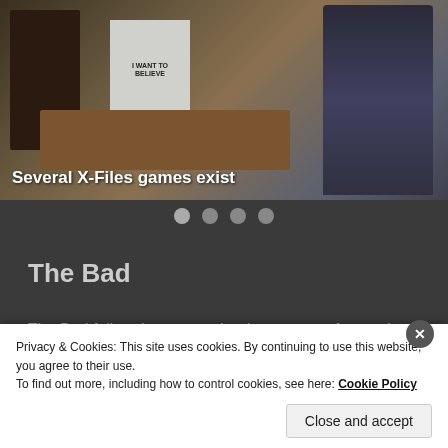[Figure (screenshot): Screenshot of an X-Files game scene showing a 3D rendered office interior with bookshelf, desk, 'I WANT TO BELIEVE' poster, and a suited character standing on the right side]
Several X-Files games exist
The Bad
The Bad fall under games that have strong factors in some
Privacy & Cookies: This site uses cookies. By continuing to use this website, you agree to their use.
To find out more, including how to control cookies, see here: Cookie Policy
Close and accept